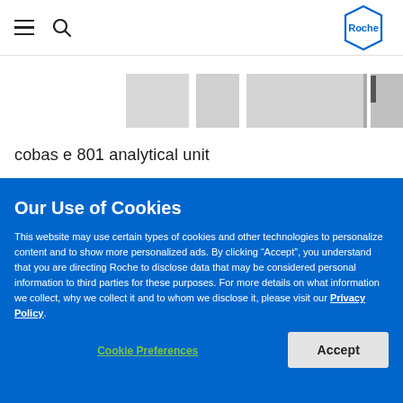Roche navigation bar with hamburger menu, search icon, and Roche hexagonal logo
[Figure (photo): Partial image of cobas e 801 analytical unit instrument showing gray tabletop panel sections]
cobas e 801 analytical unit
Our Use of Cookies
This website may use certain types of cookies and other technologies to personalize content and to show more personalized ads. By clicking “Accept”, you understand that you are directing Roche to disclose data that may be considered personal information to third parties for these purposes. For more details on what information we collect, why we collect it and to whom we disclose it, please visit our Privacy Policy.
Cookie Preferences
Accept